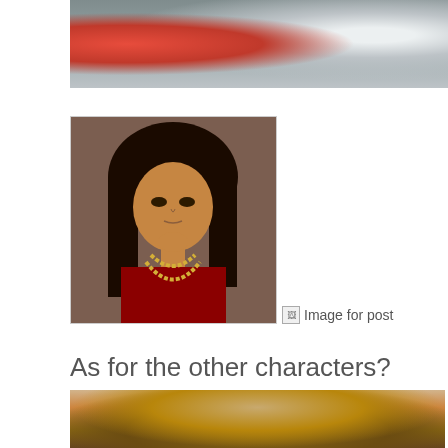[Figure (illustration): Top cropped anime/cartoon scene showing food items including a red container and bowls with food on a table]
[Figure (illustration): Anime character - a brown-skinned young woman with long dark hair wearing a red top and large gold chain necklace, resting her chin on her hand with a bored expression]
[Figure (illustration): Broken image placeholder labeled 'Image for post']
As for the other characters? Nothing but excellence!
[Figure (illustration): Bottom cropped anime/cartoon scene showing a dark-skinned character with braided/knotted hair and intense eyes against a sandy/dusty background]